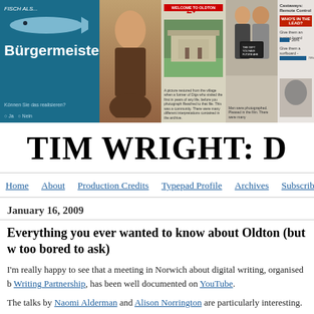[Figure (illustration): Website banner with multiple panels: German fish/Bürgermeister ad, woman with flowers, school building with playing card, two men with chalkboard, Castaways Remote Control poll]
TIM WRIGHT: D
Home  About  Production Credits  Typepad Profile  Archives  Subscrib
January 16, 2009
Everything you ever wanted to know about Oldton (but w too bored to ask)
I'm really happy to see that a meeting in Norwich about digital writing, organised b Writing Partnership, has been well documented on YouTube.
The talks by Naomi Alderman and Alison Norrington are particularly interesting.
For my own part I am relieved to see that my spiel about Oldton that I have been repeating over and over again at various conferences and seminars over the years ha finally been filmed. This means that I never have to give it again - and you don't ha